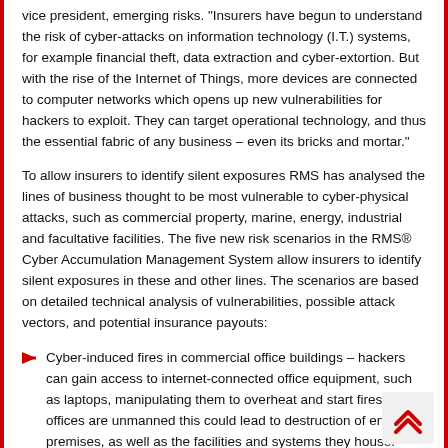vice president, emerging risks. "Insurers have begun to understand the risk of cyber-attacks on information technology (I.T.) systems, for example financial theft, data extraction and cyber-extortion. But with the rise of the Internet of Things, more devices are connected to computer networks which opens up new vulnerabilities for hackers to exploit. They can target operational technology, and thus the essential fabric of any business – even its bricks and mortar."
To allow insurers to identify silent exposures RMS has analysed the lines of business thought to be most vulnerable to cyber-physical attacks, such as commercial property, marine, energy, industrial and facultative facilities. The five new risk scenarios in the RMS® Cyber Accumulation Management System allow insurers to identify silent exposures in these and other lines. The scenarios are based on detailed technical analysis of vulnerabilities, possible attack vectors, and potential insurance payouts:
Cyber-induced fires in commercial office buildings – hackers can gain access to internet-connected office equipment, such as laptops, manipulating them to overheat and start fires. If the offices are unmanned this could lead to destruction of entire premises, as well as the facilities and systems they house.
Triggered fire in industrial processing plants – heat-sensitive devices, such as thermostats, can be sabotaged to ignite